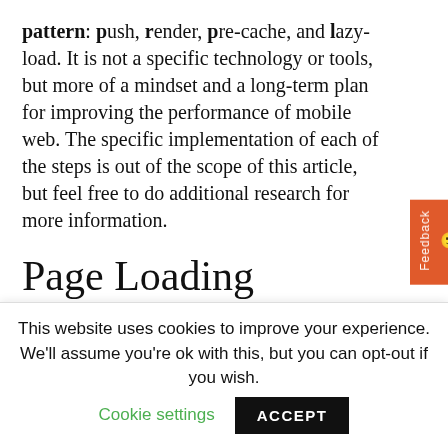pattern: push, render, pre-cache, and lazy-load. It is not a specific technology or tools, but more of a mindset and a long-term plan for improving the performance of mobile web. The specific implementation of each of the steps is out of the scope of this article, but feel free to do additional research for more information.
Page Loading Process
What does it take to load a page, from the moment you first open that page to the
This website uses cookies to improve your experience. We'll assume you're ok with this, but you can opt-out if you wish. Cookie settings ACCEPT